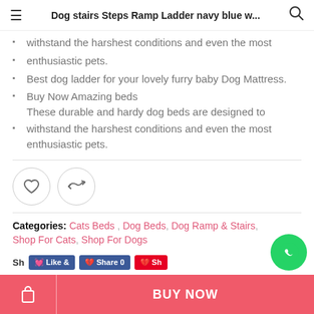Dog stairs Steps Ramp Ladder navy blue w...
withstand the harshest conditions and even the most
enthusiastic pets.
Best dog ladder for your lovely furry baby Dog Mattress.
Buy Now Amazing beds
These durable and hardy dog beds are designed to
withstand the harshest conditions and even the most enthusiastic pets.
Categories:  Cats Beds , Dog Beds, Dog Ramp & Stairs, Shop For Cats, Shop For Dogs
BUY NOW